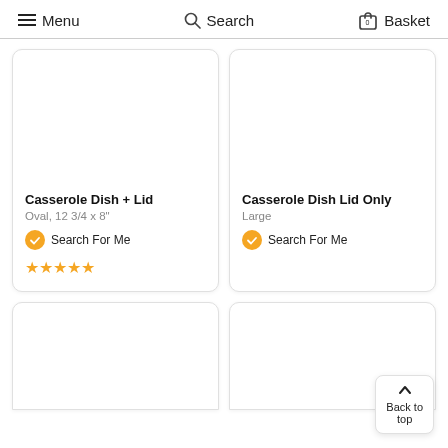Menu  Search  Basket
[Figure (screenshot): Product card for Casserole Dish + Lid, Oval, 12 3/4 x 8", with Search For Me badge and 4 gold stars]
[Figure (screenshot): Product card for Casserole Dish Lid Only, Large, with Search For Me badge]
[Figure (screenshot): Partially visible product card (bottom left)]
[Figure (screenshot): Partially visible product card (bottom right)]